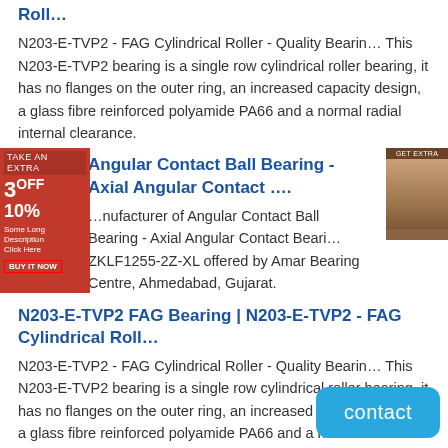Roll...
N203-E-TVP2 - FAG Cylindrical Roller - Quality Bearin... This N203-E-TVP2 bearing is a single row cylindrical roller bearing, it has no flanges on the outer ring, an increased capacity design, a glass fibre reinforced polyamide PA66 and a normal radial internal clearance.
Angular Contact Ball Bearing - Axial Angular Contact ....
...nufacturer of Angular Contact Ball Bearing - Axial Angular Contact Beari... ZKLF1255-2Z-XL offered by Amar Bearing Centre, Ahmedabad, Gujarat.
N203-E-TVP2 FAG Bearing | N203-E-TVP2 - FAG Cylindrical Roll...
N203-E-TVP2 - FAG Cylindrical Roller - Quality Bearin... This N203-E-TVP2 bearing is a single row cylindrical roller bearing, it has no flanges on the outer ring, an increased capacity design, a glass fibre reinforced polyamide PA66 and a normal radial internal clearance.
INA AM40 bearing, bearing size: *65mm*,Quality Bearing In ""...
INA AM40 Bearing is one of our main products. We have the most detailed information about INA AM40 Bearing, bearing sale, beari... price and bearing dimensions. INA AM40 Bearing is mai... Africa, Philippines, America, Malaysia, India, England, Canada, Australia. If you